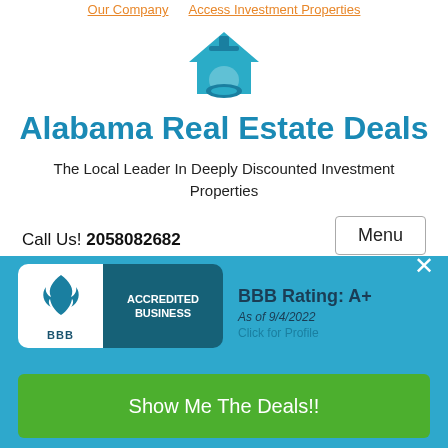Our Company   Access Investment Properties
[Figure (logo): House/graduation cap icon logo in teal/blue]
Alabama Real Estate Deals
The Local Leader In Deeply Discounted Investment Properties
Call Us! 2058082682
Menu
[Figure (logo): BBB Accredited Business badge with rating A+ as of 9/4/2022]
BBB Rating: A+
As of 9/4/2022
Click for Profile
Show Me The Deals!!